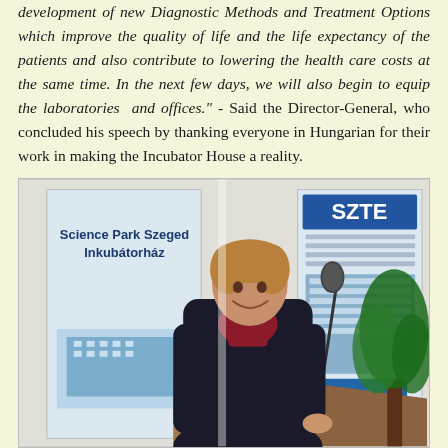development of new Diagnostic Methods and Treatment Options which improve the quality of life and the life expectancy of the patients and also contribute to lowering the health care costs at the same time. In the next few days, we will also begin to equip the laboratories and offices." - Said the Director-General, who concluded his speech by thanking everyone in Hungarian for their work in making the Incubator House a reality.
[Figure (photo): A woman in a dark coat and red scarf speaking at a podium with a microphone. Behind her are banners for 'Science Park Szeged Inkubátorház' and an SZTE (University of Szeged) display. A plant is visible on the right.]